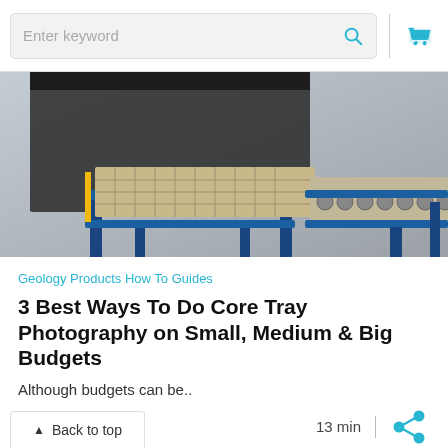[Figure (screenshot): Search bar with 'Enter keyword' placeholder text, search icon, and shopping cart icon]
[Figure (photo): Industrial core tray photography equipment — blue metal frame conveyor/table system with mesh tray surface and roller conveyor, black enclosure tent in background]
Geology Products How To Guides
3 Best Ways To Do Core Tray Photography on Small, Medium & Big Budgets
Although budgets can be..
13 min
Back to top